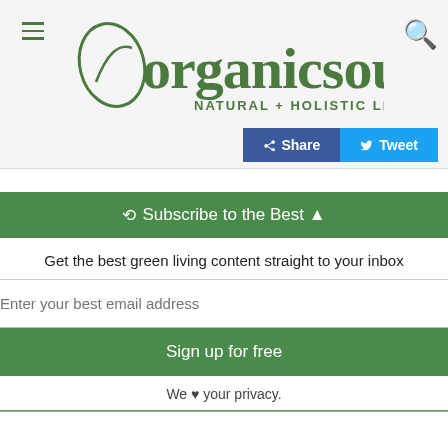[Figure (logo): OrganicSoul - Natural + Holistic Living logo with leaf icon and stylized text]
[Figure (screenshot): Social sharing buttons: blue Facebook Share button and light blue Twitter Tweet button]
Subscribe to the Best
Get the best green living content straight to your inbox
Enter your best email address
Sign up for free
We ♥ your privacy.